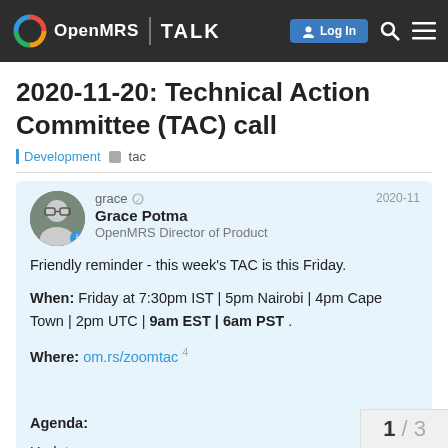OpenMRS TALK
2020-11-20: Technical Action Committee (TAC) call
Development tac
grace Grace Potma OpenMRS Director of Product 2020-11
Friendly reminder - this week's TAC is this Friday.

When: Friday at 7:30pm IST | 5pm Nairobi | 4pm Cape Town | 2pm UTC | 9am EST | 6am PST .

Where: om.rs/zoomtac 4

Agenda:

Updates:
1 / 3